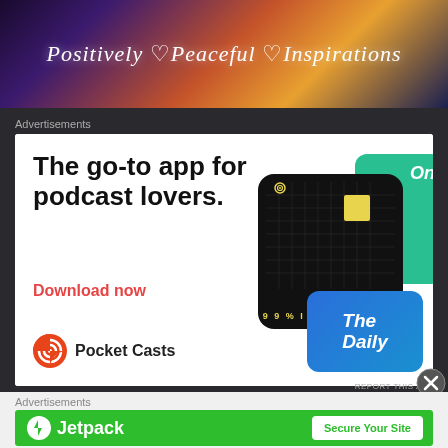[Figure (illustration): Website banner header with colorful swirling abstract background and text: Positively Peaceful Inspirations]
Advertisements
[Figure (screenshot): Pocket Casts app advertisement. Text: The go-to app for podcast lovers. Download now. Logo: Pocket Casts. Shows app card mockups including 99% Invisible and The Daily.]
REPORT THIS AD
Advertisements
[Figure (screenshot): Jetpack advertisement banner with green background. Logo and name: Jetpack. Button: Secure Your Site.]